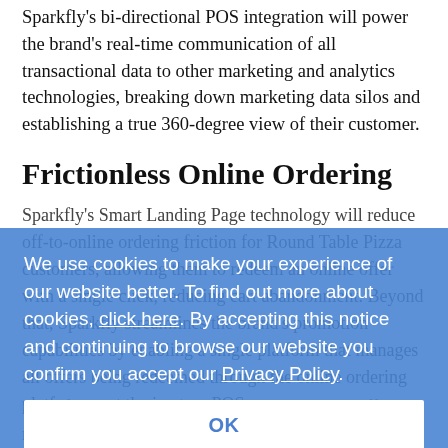Sparkfly's bi-directional POS integration will power the brand's real-time communication of all transactional data to other marketing and analytics technologies, breaking down marketing data silos and establishing a true 360-degree view of their customer.
Frictionless Online Ordering
Sparkfly's Smart Landing Page technology will reduce off-to-online ordering friction for Round Table Pizza customers, allowing them to redeem an online offer with a single click, reducing cart abandonment. Beyond that, Sparkfly streamlines the brand's promotion capabilities by enabling a single platform that manages all offers being redeemed through the online ordering platform or at the in-store POS.
We use cookies to make your experience of our website better. To find out more about cookies, click here. By accepting this notice and continuing to browse our website you confirm you accept our Privacy Policy.
OK
Sparkfly provides real time POS connectivity, offer management and loyalty, mobile loyalty wallets and